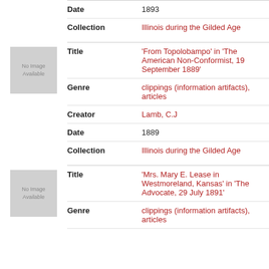| Field | Value |
| --- | --- |
| Date | 1893 |
| Collection | Illinois during the Gilded Age |
[Figure (other): No Image Available placeholder thumbnail]
| Field | Value |
| --- | --- |
| Title | 'From Topolobampo' in 'The American Non-Conformist, 19 September 1889' |
| Genre | clippings (information artifacts), articles |
| Creator | Lamb, C.J |
| Date | 1889 |
| Collection | Illinois during the Gilded Age |
[Figure (other): No Image Available placeholder thumbnail]
| Field | Value |
| --- | --- |
| Title | 'Mrs. Mary E. Lease in Westmoreland, Kansas' in 'The Advocate, 29 July 1891' |
| Genre | clippings (information artifacts), articles |